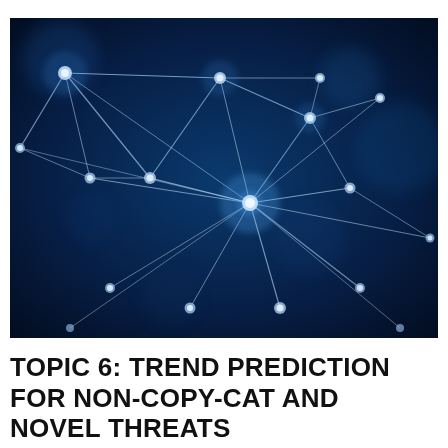[Figure (photo): A dark blue-toned network graph visualization showing interconnected nodes (glowing white dots) connected by white lines, resembling a neural network or cybersecurity threat map. The background is deep blue with bokeh blur effects.]
TOPIC 6: TREND PREDICTION FOR NON-COPY-CAT AND NOVEL THREATS